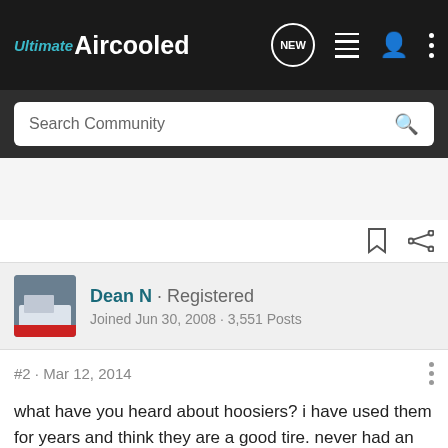Ultimate Aircooled
Search Community
Dean N · Registered
Joined Jun 30, 2008 · 3,551 Posts
#2 · Mar 12, 2014
what have you heard about hoosiers? i have used them for years and think they are a good tire. never had an issue with them.